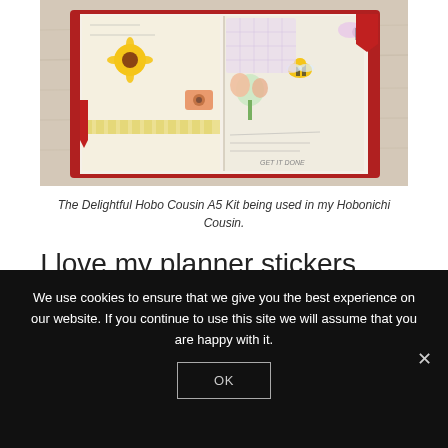[Figure (photo): A decorated Hobonichi Cousin planner/journal open to a colorful illustrated page with stickers including flowers, bees, a camera, and handwritten notes. The journal has a red leather cover with red bookmarks. Positioned on a light wooden surface.]
The Delightful Hobo Cousin A5 Kit being used in my Hobonichi Cousin.
I love my planner stickers from Inkybajinky and I will certainly be ordering again!
We use cookies to ensure that we give you the best experience on our website. If you continue to use this site we will assume that you are happy with it.